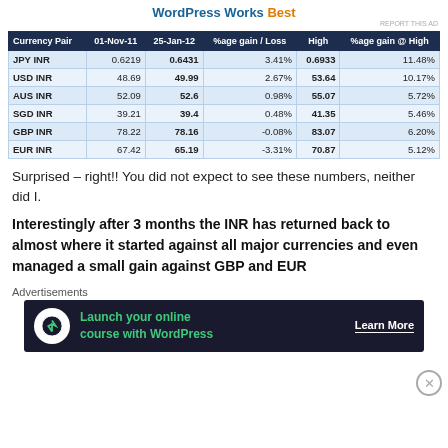WordPress Works Best
| Currency Pair | 01-Nov-11 | 25-Jan-12 | %age gain / Loss | High | %age gain @ High |
| --- | --- | --- | --- | --- | --- |
| JPY INR | 0.6219 | 0.6431 | 3.41% | 0.6933 | 11.48% |
| USD INR | 48.69 | 49.99 | 2.67% | 53.64 | 10.17% |
| AUS INR | 52.09 | 52.6 | 0.98% | 55.07 | 5.72% |
| SGD INR | 39.21 | 39.4 | 0.48% | 41.35 | 5.46% |
| GBP INR | 78.22 | 78.16 | -0.08% | 83.07 | 6.20% |
| EUR INR | 67.42 | 65.19 | -3.31% | 70.87 | 5.12% |
Surprised – right!! You did not expect to see these numbers, neither did I.
Interestingly after 3 months the INR has returned back to almost where it started against all major currencies and even managed a small gain against GBP and EUR
Advertisements
[Figure (other): Advertisement banner: Launch your online course with WordPress — Learn More]